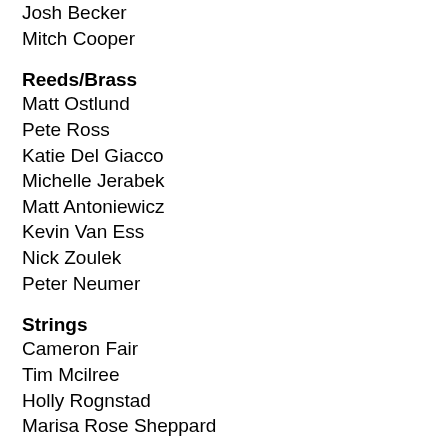Josh Becker
Mitch Cooper
Reeds/Brass
Matt Ostlund
Pete Ross
Katie Del Giacco
Michelle Jerabek
Matt Antoniewicz
Kevin Van Ess
Nick Zoulek
Peter Neumer
Strings
Cameron Fair
Tim Mcilree
Holly Rognstad
Marisa Rose Sheppard